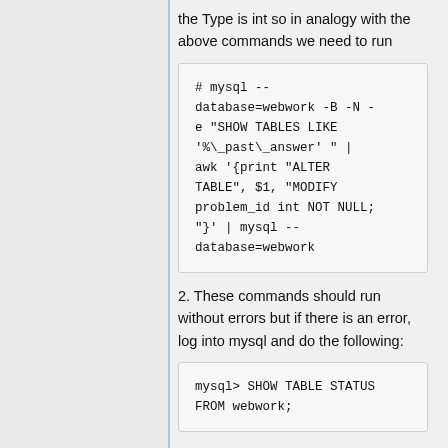the Type is int so in analogy with the above commands we need to run
# mysql --database=webwork -B -N -e "SHOW TABLES LIKE '%\_past\_answer' " | awk '{print "ALTER TABLE", $1, "MODIFY problem_id int NOT NULL; "}' | mysql --database=webwork
2. These commands should run without errors but if there is an error, log into mysql and do the following:
mysql> SHOW TABLE STATUS FROM webwork;